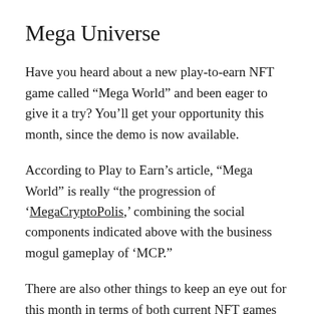Mega Universe
Have you heard about a new play-to-earn NFT game called “Mega World” and been eager to give it a try? You’ll get your opportunity this month, since the demo is now available.
According to Play to Earn’s article, “Mega World” is really “the progression of ‘MegaCryptoPolis,’ combining the social components indicated above with the business mogul gameplay of ‘MCP.”
There are also other things to keep an eye out for this month in terms of both current NFT games and yet-to-be-released titles. Among them are the following: